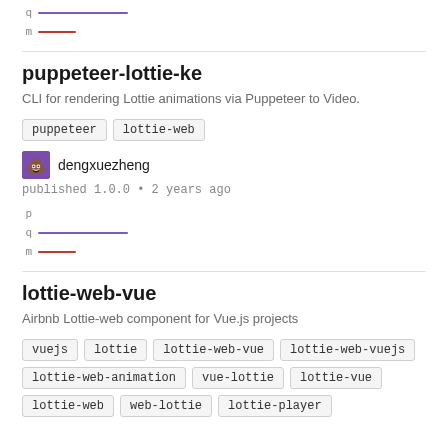[Figure (infographic): Partial sparkline rows for q (purple line) and m (red line) from previous package listing]
puppeteer-lottie-ke
CLI for rendering Lottie animations via Puppeteer to Video.
puppeteer
lottie-web
[Figure (illustration): Avatar icon for dengxuezheng - purple background with poop emoji style icon]
dengxuezheng
published 1.0.0 • 2 years ago
[Figure (infographic): Sparkline rows: p (no line), q (purple line ~90px), m (red short line ~38px)]
lottie-web-vue
Airbnb Lottie-web component for Vue.js projects
vuejs
lottie
lottie-web-vue
lottie-web-vuejs
lottie-web-animation
vue-lottie
lottie-vue
lottie-web
web-lottie
lottie-player